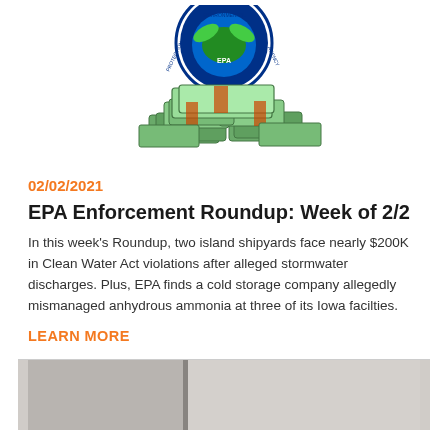[Figure (illustration): EPA logo with pile of bundled dollar bills stacked below it, suggesting enforcement fines/penalties]
02/02/2021
EPA Enforcement Roundup: Week of 2/2
In this week’s Roundup, two island shipyards face nearly $200K in Clean Water Act violations after alleged stormwater discharges. Plus, EPA finds a cold storage company allegedly mismanaged anhydrous ammonia at three of its Iowa facilties.
LEARN MORE
[Figure (photo): Partial photo at bottom of page showing a blurred interior scene]